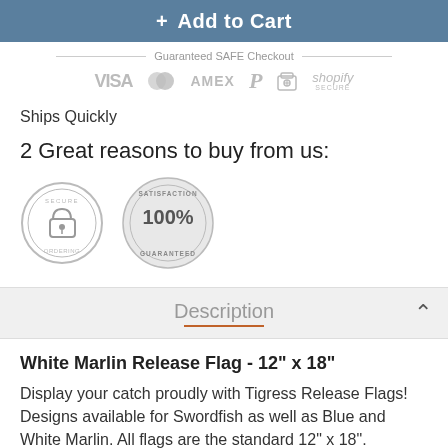[Figure (other): Add to Cart button bar with blue background and white bold text]
[Figure (other): Guaranteed SAFE Checkout section with payment icons: VISA, Mastercard, AMEX, PayPal, lock icon, shopify SECURE]
Ships Quickly
2 Great reasons to buy from us:
[Figure (other): Two trust badge icons: Secure Ordering badge and 100% Satisfaction Guaranteed badge]
Description
White Marlin Release Flag - 12" x 18"
Display your catch proudly with Tigress Release Flags! Designs available for Swordfish as well as Blue and White Marlin. All flags are the standard 12" x 18".